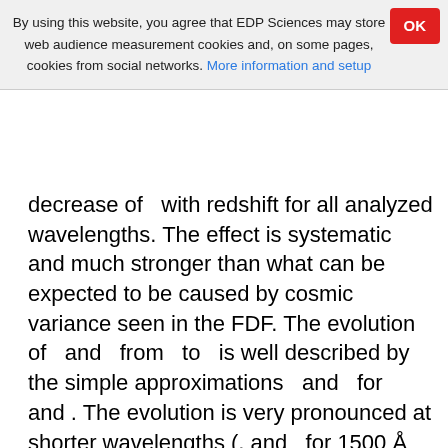By using this website, you agree that EDP Sciences may store web audience measurement cookies and, on some pages, cookies from social networks. More information and setup
decrease of  with redshift for all analyzed wavelengths. The effect is systematic and much stronger than what can be expected to be caused by cosmic variance seen in the FDF. The evolution of  and  from  to  is well described by the simple approximations  and  for  and . The evolution is very pronounced at shorter wavelengths (, and  for 1500 Å  rest wavelength) and decreases systematically with increasing wavelength, but is also clearly visible at the longest wavelength investigated here (, and for g'). Finally we show a comparison with semi-analytical galaxy formation models.